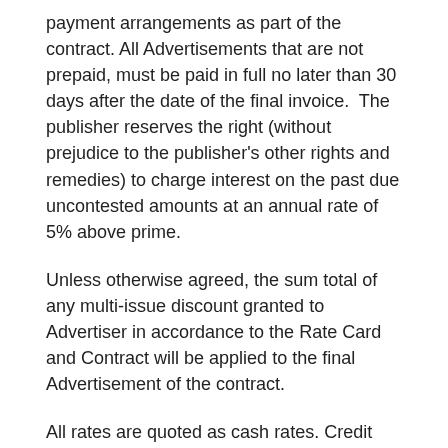payment arrangements as part of the contract. All Advertisements that are not prepaid, must be paid in full no later than 30 days after the date of the final invoice.  The publisher reserves the right (without prejudice to the publisher's other rights and remedies) to charge interest on the past due uncontested amounts at an annual rate of 5% above prime.
Unless otherwise agreed, the sum total of any multi-issue discount granted to Advertiser in accordance to the Rate Card and Contract will be applied to the final Advertisement of the contract.
All rates are quoted as cash rates. Credit card payments through Payfast are permitted and subject to a 3% service fee.
Changes, Cancellations and Errors
It is the Advertiser's responsibility to check the correctness of the Advertisement. Publisher is not liable for Advertisements supplied